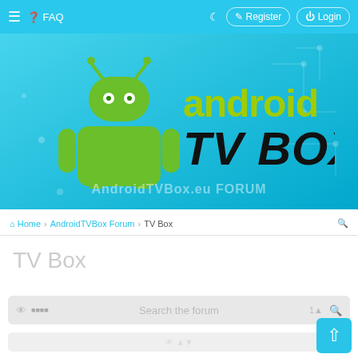≡  ? FAQ  ☾  Register  Login
[Figure (logo): Android TV Box logo with green Android robot mascot on the left side and 'android TV BOX' text on the right, displayed on a cyan/light blue gradient background]
AndroidTVBox.eu FORUM
🏠 Home › AndroidTVBox Forum › TV Box
TV Box
Search the forum